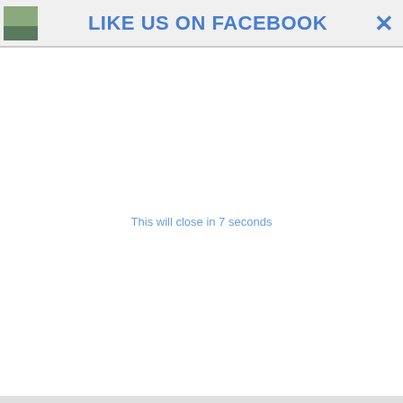LIKE US ON FACEBOOK ✕
This will close in 7 seconds